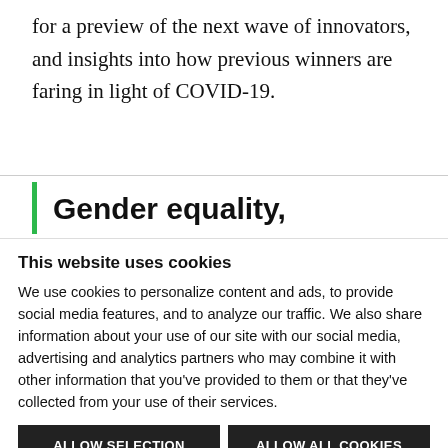for a preview of the next wave of innovators, and insights into how previous winners are faring in light of COVID-19.
Gender equality,
This website uses cookies
We use cookies to personalize content and ads, to provide social media features, and to analyze our traffic. We also share information about your use of our site with our social media, advertising and analytics partners who may combine it with other information that you've provided to them or that they've collected from your use of their services.
ALLOW SELECTION
ALLOW ALL COOKIES
Necessary  Preferences  Statistics  Marketing  Show details